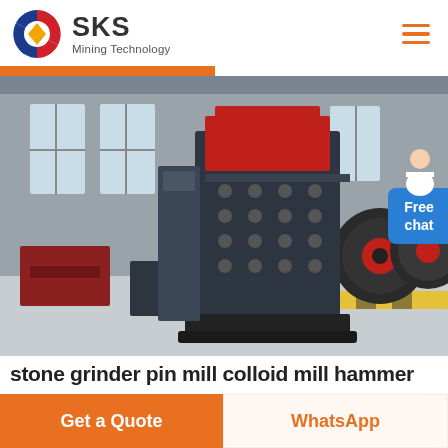[Figure (logo): SKS Mining Technology company logo with circular red/blue emblem and yellow diamond shape]
[Figure (photo): Industrial factory floor showing a large red and dark grey mining/crushing machine (hammer mill or similar) inside a spacious warehouse with large windows. Additional heavy machinery visible in background including large flywheels.]
stone grinder pin mill colloid mill hammer
Get a Quote
WhatsApp